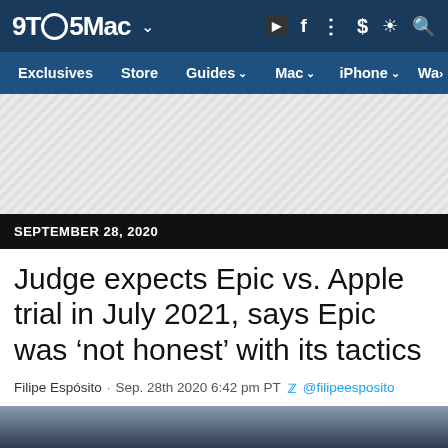9TO5Mac
Exclusives  Store  Guides  Mac  iPhone  Wa
[Figure (other): Advertisement placeholder with diagonal hatching pattern]
SEPTEMBER 28, 2020
Judge expects Epic vs. Apple trial in July 2021, says Epic was ‘not honest’ with its tactics
Filipe Espósito  ·  Sep. 28th 2020 6:42 pm PT  @filipeesposito